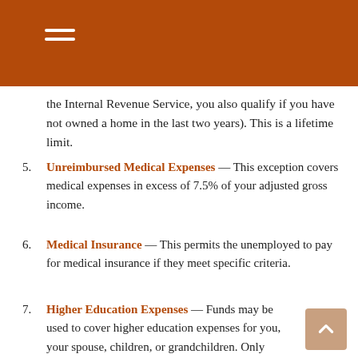the Internal Revenue Service, you also qualify if you have not owned a home in the last two years). This is a lifetime limit.
5. Unreimbursed Medical Expenses — This exception covers medical expenses in excess of 7.5% of your adjusted gross income.
6. Medical Insurance — This permits the unemployed to pay for medical insurance if they meet specific criteria.
7. Higher Education Expenses — Funds may be used to cover higher education expenses for you, your spouse, children, or grandchildren. Only certain institutions and associated expenses are permitted.